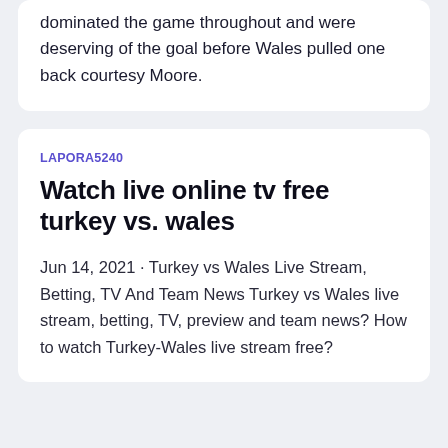dominated the game throughout and were deserving of the goal before Wales pulled one back courtesy Moore.
LAPORA5240
Watch live online tv free turkey vs. wales
Jun 14, 2021 · Turkey vs Wales Live Stream, Betting, TV And Team News Turkey vs Wales live stream, betting, TV, preview and team news? How to watch Turkey-Wales live stream free?